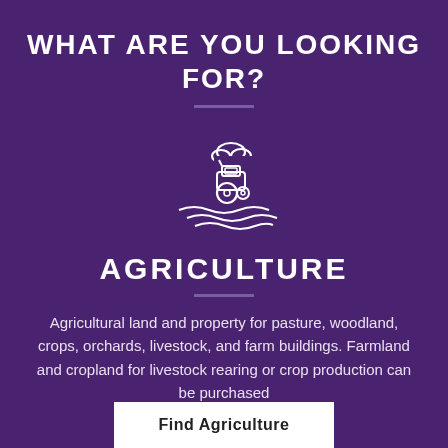WHAT ARE YOU LOOKING FOR?
[Figure (illustration): White line-art icon of a tractor in a field with a cloud above, on a dark purple background]
AGRICULTURE
Agricultural land and property for pasture, woodland, crops, orchards, livestock, and farm buildings. Farmland and cropland for livestock rearing or crop production can be purchased
Find Agriculture